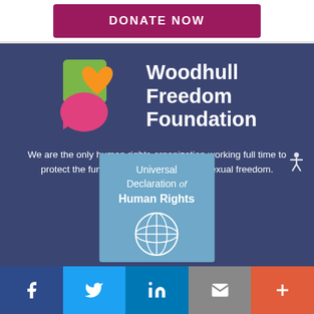DONATE NOW
[Figure (logo): Woodhull Freedom Foundation logo with colorful speech bubble heart icon and white text on dark blue background]
We are the only human rights organization working full time to protect the fundamental human right to sexual freedom.
[Figure (photo): Universal Declaration of Human Rights booklet cover with UN emblem]
Facebook | Twitter | LinkedIn | Email | More